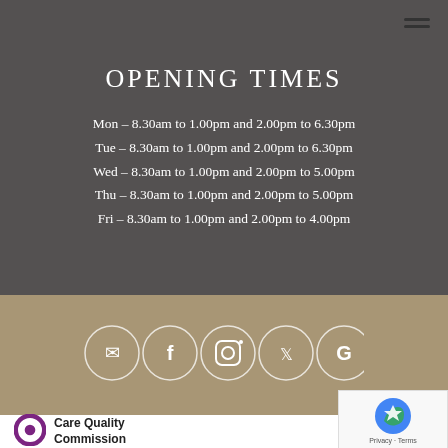OPENING TIMES
Mon – 8.30am to 1.00pm and 2.00pm to 6.30pm
Tue – 8.30am to 1.00pm and 2.00pm to 6.30pm
Wed – 8.30am to 1.00pm and 2.00pm to 5.00pm
Thu – 8.30am to 1.00pm and 2.00pm to 5.00pm
Fri – 8.30am to 1.00pm and 2.00pm to 4.00pm
[Figure (infographic): Social media icon circles: email, facebook, instagram, twitter, google]
[Figure (logo): Care Quality Commission logo with purple circular CQC icon and text 'Care Quality Commission']